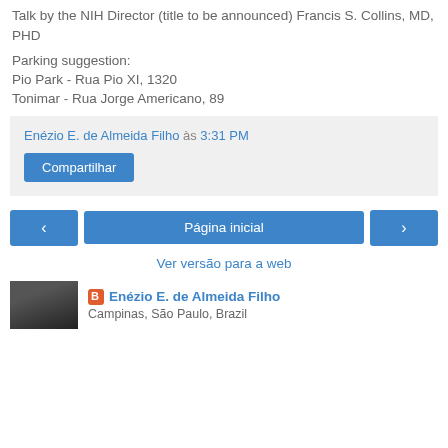Talk by the NIH Director (title to be announced) Francis S. Collins, MD, PHD
Parking suggestion:
Pio Park - Rua Pio XI, 1320
Tonimar - Rua Jorge Americano, 89
Enézio E. de Almeida Filho às 3:31 PM
Compartilhar
‹   Página inicial   ›
Ver versão para a web
Enézio E. de Almeida Filho
Campinas, São Paulo, Brazil